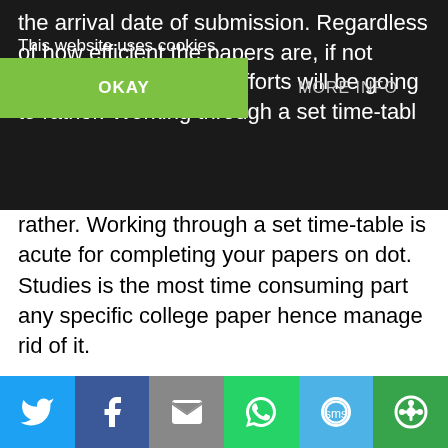the arrival date of submission. Regardless of how efficient the papers are, if not given in time, all your efforts will be going to rather. Working through a set time-table is acute for completing your papers on dot. Studies is the most time consuming part any specific college paper hence manage rid of it.
This website uses cookies
OKAY
MORE INFO
rather. Working through a set time-table is acute for completing your papers on dot. Studies is the most time consuming part any specific college paper hence manage rid of it.
South Cyprus, especially Nissi Beach at Agia Napa has the reputation in which it is limited to the young and people who crave to special day. Yes, the bars is there and essential beaches in order to be crowded in August. However, you can quickly avoid them by taking a merely short drive or a motorbike ride